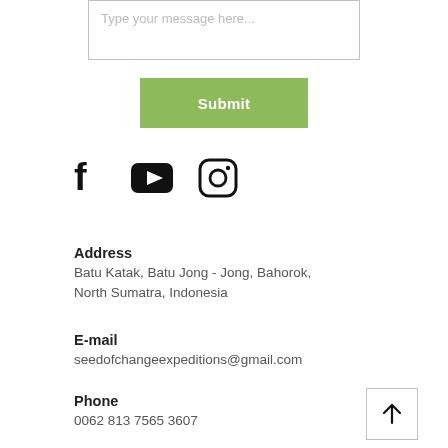Type your message here...
Submit
[Figure (illustration): Social media icons: Facebook, YouTube, Instagram]
Address
Batu Katak, Batu Jong - Jong, Bahorok, North Sumatra, Indonesia
E-mail
seedofchangeexpeditions@gmail.com
Phone
0062 813 7565 3607
[Figure (illustration): Up arrow button for scroll to top]